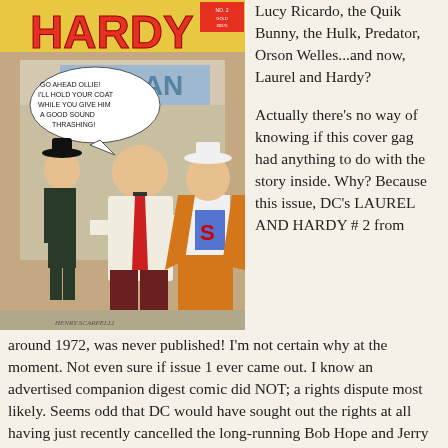[Figure (illustration): Comic book cover of DC's Laurel and Hardy #2 showing Stan Laurel and Oliver Hardy confronted by a man revealing a Superman costume underneath his jacket, in front of a restaurant. Speech bubble reads 'GO AHEAD OLLIE! I'LL HOLD YOUR COAT WHILE YOU GIVE HIM A GOOD SOUND THRASHING!' Art by Henry Scarpelli.]
Lucy Ricardo, the Quik Bunny, the Hulk, Predator, Orson Welles...and now, Laurel and Hardy?
Actually there's no way of knowing if this cover gag had anything to do with the story inside. Why? Because this issue, DC's LAUREL AND HARDY # 2 from around 1972, was never published! I'm not certain why at the moment. Not even sure if issue 1 ever came out. I know an advertised companion digest comic did NOT; a rights dispute most likely. Seems odd that DC would have sought out the rights at all having just recently cancelled the long-running Bob Hope and Jerry Lewis tie-ins. The art, as you can tell by the signature, was by humor artist, inker and future ARCHIE staple, Henry Scarpelli